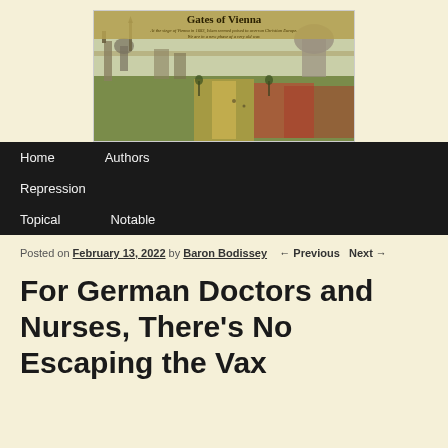[Figure (illustration): Gates of Vienna website banner showing a historical painting of Vienna cityscape with church domes and green fields. Title text reads 'Gates of Vienna' with subtitle 'At the siege of Vienna in 1683, Islam seemed poised to overrun Christian Europe. We are in a new phase of a very old war.']
Home    Authors    Repression    Topical    Notable
Posted on February 13, 2022 by Baron Bodissey    ← Previous    Next →
For German Doctors and Nurses, There's No Escaping the Vax